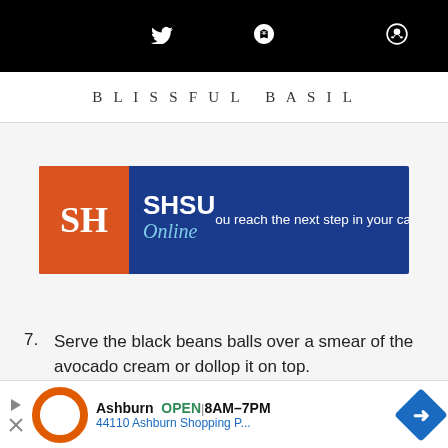f 32 [twitter icon] p 371 [reddit icon]
BLISSFUL BASIL
[Figure (screenshot): SHSU Online advertisement banner showing the SHSU logo with an orange square containing 'SH' letters, followed by 'SHSU Online' text on a dark blue background, with tagline text 'reach the next step in your ca[reer]']
7. Serve the black beans balls over a smear of the avocado cream or dollop it on top.
Notes
* Th[is recipe...] on whe[re...] le.
[Figure (screenshot): Bottom ad overlay: Ashburn OPEN 8AM-7PM, 44110 Ashburn Shopping P... with navigation arrow icon]